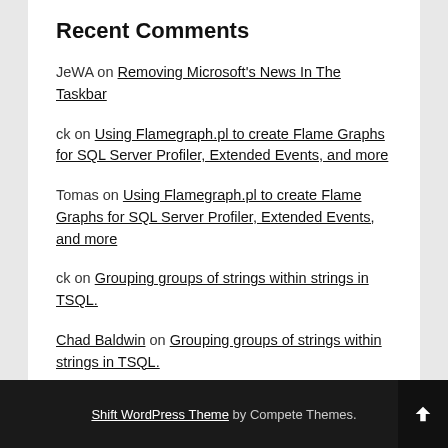Recent Comments
JeWA on Removing Microsoft's News In The Taskbar
ck on Using Flamegraph.pl to create Flame Graphs for SQL Server Profiler, Extended Events, and more
Tomas on Using Flamegraph.pl to create Flame Graphs for SQL Server Profiler, Extended Events, and more
ck on Grouping groups of strings within strings in TSQL.
Chad Baldwin on Grouping groups of strings within strings in TSQL.
Shift WordPress Theme by Compete Themes.